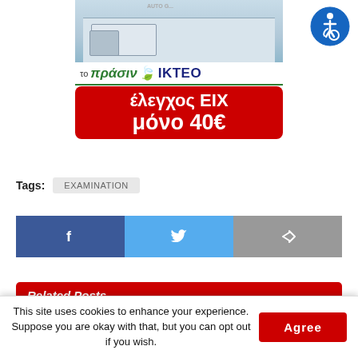[Figure (photo): Advertisement for 'το πράσινο IKTEO' (Green Vehicle Inspection Center) showing a truck/building photo at top, green text banner, and red box with text 'έλεγχος ΕΙΧ μόνο 40€']
[Figure (logo): Blue circular accessibility/disabled person icon in top right corner]
Tags:  EXAMINATION
[Figure (infographic): Social sharing buttons: Facebook (dark blue with f icon), Twitter (light blue with bird icon), Share (gray with arrow icon)]
Related Posts
This site uses cookies to enhance your experience. Suppose you are okay with that, but you can opt out if you wish.